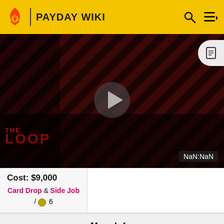PAYDAY WIKI
[Figure (screenshot): Video thumbnail showing GTA: The Criminal Enterprises - The Loop promotional video with characters and play button overlay, dark red striped background]
GTA: The Criminal Enterprises - Th...
NaN:NaN
Cost: $9,000
Card Drop & Side Job / 6
More Info.
| Compatible | Every weapon ingame |
| --- | --- |